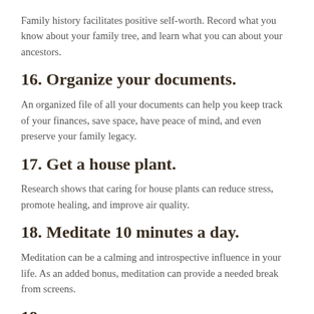Family history facilitates positive self-worth. Record what you know about your family tree, and learn what you can about your ancestors.
16. Organize your documents.
An organized file of all your documents can help you keep track of your finances, save space, have peace of mind, and even preserve your family legacy.
17. Get a house plant.
Research shows that caring for house plants can reduce stress, promote healing, and improve air quality.
18. Meditate 10 minutes a day.
Meditation can be a calming and introspective influence in your life. As an added bonus, meditation can provide a needed break from screens.
19. [partial, cut off]